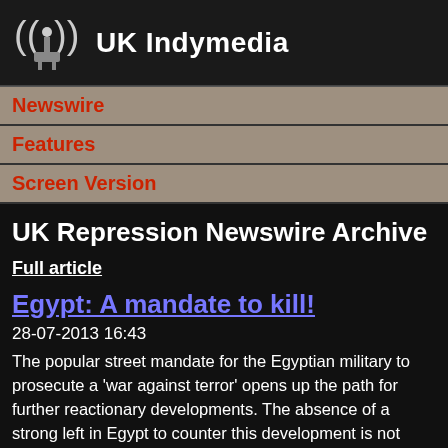UK Indymedia
Newswire
Features
Screen Version
UK Repression Newswire Archive
Full article
Egypt: A mandate to kill!
28-07-2013 16:43
The popular street mandate for the Egyptian military to prosecute a 'war against terror' opens up the path for further reactionary developments. The absence of a strong left in Egypt to counter this development is not something unique to the Arab World and the Arab Spring. It is a symptom of radical left weakness which is endemic throughout the world. A global crisis of the capitalist mode of production requires a